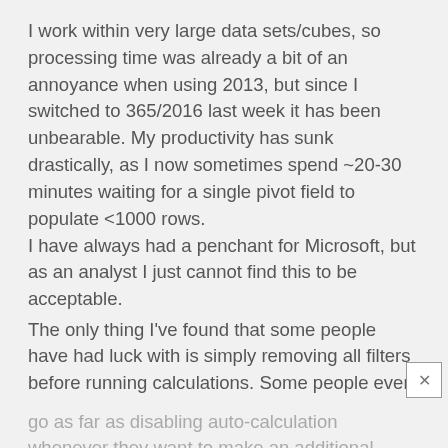I work within very large data sets/cubes, so processing time was already a bit of an annoyance when using 2013, but since I switched to 365/2016 last week it has been unbearable. My productivity has sunk drastically, as I now sometimes spend ~20-30 minutes waiting for a single pivot field to populate <1000 rows. I have always had a penchant for Microsoft, but as an analyst I just cannot find this to be acceptable.
The only thing I've found that some people have had luck with is simply removing all filters before running calculations. Some people even
go as far as disabling auto-calculation whenever they want to make an additional